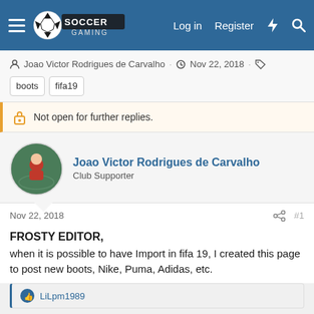Soccer Gaming — Log in Register
Joao Victor Rodrigues de Carvalho · Nov 22, 2018 · boots fifa19
Not open for further replies.
Joao Victor Rodrigues de Carvalho
Club Supporter
Nov 22, 2018  #1
FROSTY EDITOR,
when it is possible to have Import in fifa 19, I created this page to post new boots, Nike, Puma, Adidas, etc.
LiLpm1989
qasar80
Youth Team